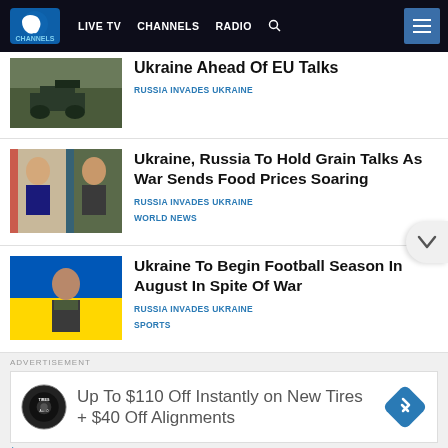LIVE TV  CHANNELS  RADIO
Ukraine Ahead Of EU Talks
RUSSIA INVADES UKRAINE
Ukraine, Russia To Hold Grain Talks As War Sends Food Prices Soaring
RUSSIA INVADES UKRAINE
WORLD NEWS
Ukraine To Begin Football Season In August In Spite Of War
RUSSIA INVADES UKRAINE
SPORTS
ADVERTISEMENT
[Figure (infographic): Advertisement: Up To $110 Off Instantly on New Tires + $40 Off Alignments with Tires Auto logo and blue diamond arrow icon]